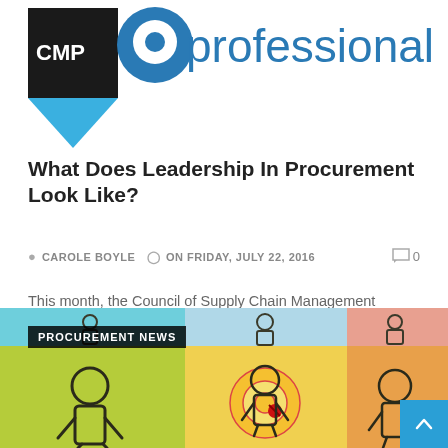[Figure (logo): CPM Professional logo with blue circular icon and 'professional' text in blue]
What Does Leadership In Procurement Look Like?
CAROLE BOYLE   ON FRIDAY, JULY 22, 2016   0
This month, the Council of Supply Chain Management Professionals announced the winners of their 2016 Emerging Leader Award. Among only three winners...
Read more »
[Figure (photo): Procurement News banner with illustration of three human figures on colored sticky notes (green, yellow, orange/pink) with a target/pin in the center figure]